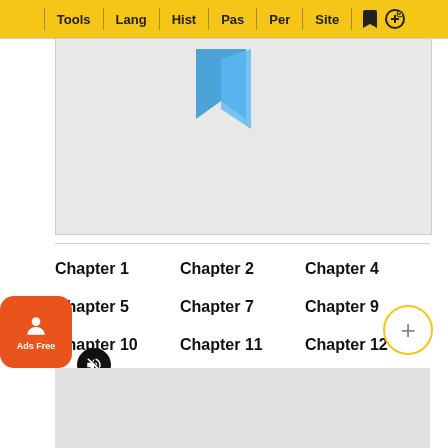Tools | Lang | Hist | Pas | Per | Site
[Figure (screenshot): Media player area with muted icon and blue play bookmark icon]
Chapter 1
Chapter 2
Chapter 4
Chapter 5
Chapter 7
Chapter 9
Chapter 10
Chapter 11
Chapter 12
Chapter 14
Chapter 15
Chapter 16
Chapter 17
Chapter 18
Chapter 19
Chapter 20
Chapter 21
Chapter 22
Chapter 23
Chapter 24
Chapter 25
Chapter 26
Chapter 27
Chapter 28